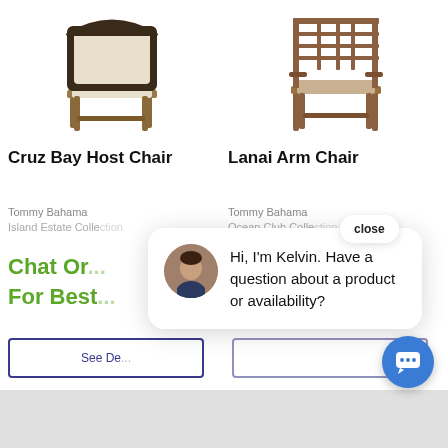[Figure (photo): Cruz Bay Host Chair product image - a dark upholstered high-back chair with wooden frame]
[Figure (photo): Lanai Arm Chair product image - a wooden lattice-back arm chair]
Cruz Bay Host Chair
Lanai Arm Chair
Tommy Bahama
Island Estate Collection
Tommy Bahama
Ocean Club Collection
Chat On...
For Best...
See De...
[Figure (screenshot): Live chat popup with avatar of agent Kelvin and message: Hi, I'm Kelvin. Have a question about a product or availability?]
close
Hi, I'm Kelvin. Have a question about a product or availability?